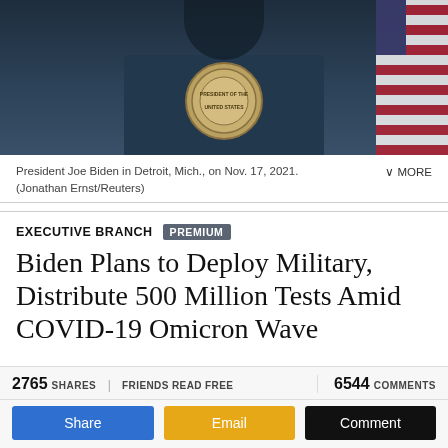[Figure (photo): President Joe Biden speaking at a podium with the Presidential Seal visible, with an American flag in the background]
President Joe Biden in Detroit, Mich., on Nov. 17, 2021. (Jonathan Ernst/Reuters)
EXECUTIVE BRANCH
Biden Plans to Deploy Military, Distribute 500 Million Tests Amid COVID-19 Omicron Wave
By Jack Phillips
December 21, 2021   Updated: December 21, 2021
President Joe Biden's administration is planning to